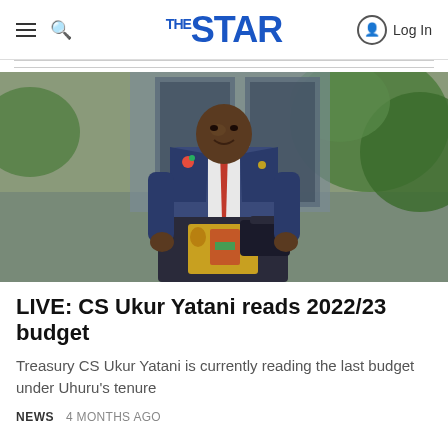THE STAR — Log In
[Figure (photo): A government official in a blue suit and red tie stands at a podium bearing the Kenya coat of arms, holding a black briefcase, with greenery visible in the background.]
LIVE: CS Ukur Yatani reads 2022/23 budget
Treasury CS Ukur Yatani is currently reading the last budget under Uhuru's tenure
NEWS  4 MONTHS AGO